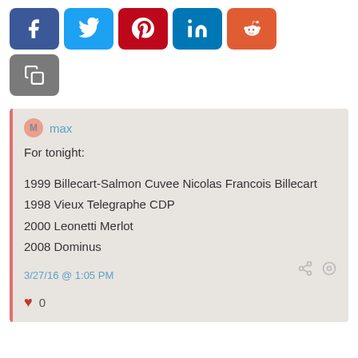[Figure (infographic): Social media sharing buttons: Facebook (blue), Twitter (light blue), Pinterest (red), LinkedIn (teal), Reddit (orange-red), and a copy button (gray)]
max
For tonight:

1999 Billecart-Salmon Cuvee Nicolas Francois Billecart
1998 Vieux Telegraphe CDP
2000 Leonetti Merlot
2008 Dominus

3/27/16 @ 1:05 PM

♥ 0